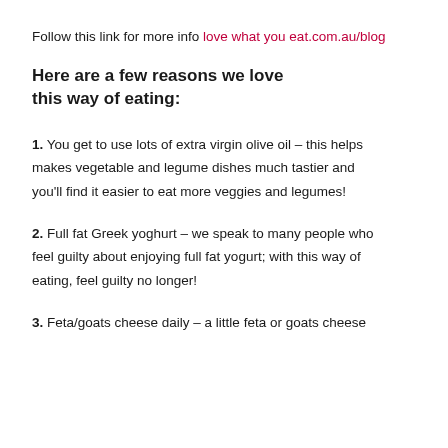Follow this link for more info love what you eat.com.au/blog
Here are a few reasons we love this way of eating:
1. You get to use lots of extra virgin olive oil – this helps makes vegetable and legume dishes much tastier and you'll find it easier to eat more veggies and legumes!
2. Full fat Greek yoghurt – we speak to many people who feel guilty about enjoying full fat yogurt; with this way of eating, feel guilty no longer!
3. Feta/goats cheese daily – a little feta or goats cheese